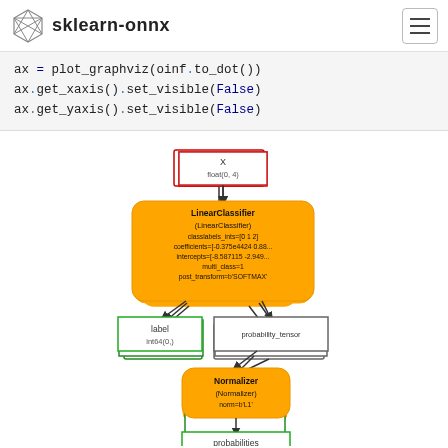sklearn-onnx
ax = plot_graphviz(oinf.to_dot())
ax.get_xaxis().set_visible(False)
ax.get_yaxis().set_visible(False)
[Figure (flowchart): ONNX model flowchart: X (float(0,4)) -> LinearClassifier (LinearClassifier, classlabels_ints=[0 1 2], coefficients=[-0.375e4424 0.88...], intercepts=[-8.587115 -2.949...], multi_class=1, post_transform=b'SOFTMAX') -> label (int64(0,)) and probability_tensor -> Normalizer (Normalizer, norm=b'L1') -> probabilities (float(0,3))]